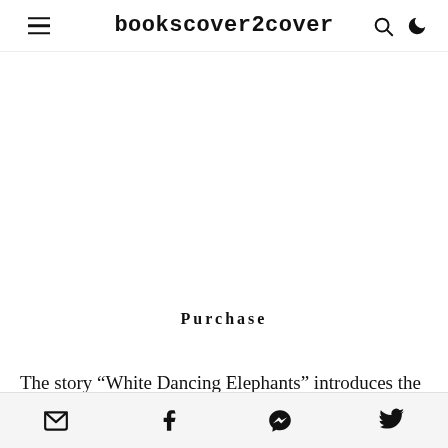bookscover2cover
Purchase
The story “White Dancing Elephants” introduces the
Share icons: email, facebook, messenger, twitter